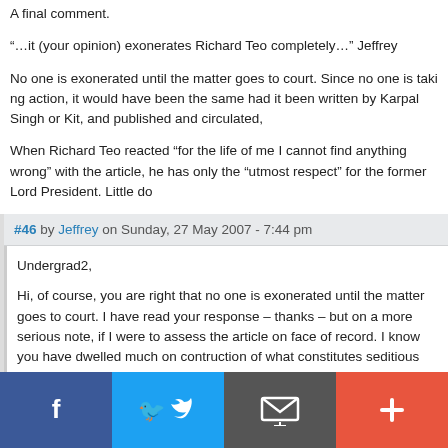A final comment.
“…it (your opinion) exonerates Richard Teo completely…” Jeffrey
No one is exonerated until the matter goes to court. Since no one is taking action, it would have been the same had it been written by Karpal Singh or Kit, and published and circulated,
When Richard Teo reacted “for the life of me I cannot find anything wrong” with the article, he has only the “utmost respect” for the former Lord President. Little do
#46 by Jeffrey on Sunday, 27 May 2007 - 7:44 pm
Undergrad2,
Hi, of course, you are right that no one is exonerated until the matter goes to court. I have read your response – thanks – but on a more serious note, if I were to assess the article on face of record. I know you have dwelled much on contruction of what constitutes seditious implication because there has not happened protests and disaffection (a) the test of whether caused by what was said is pivotal. Here we are talking in vacumn because in relation to statements made, I would still interpret based strictly on what’s express or implied. As to any defendant of sedition, ‘intention’ is, you know, not relevant. The offending part of the Sedition Act is a reference to DYMM the Sultan and not the Raja Muda (to